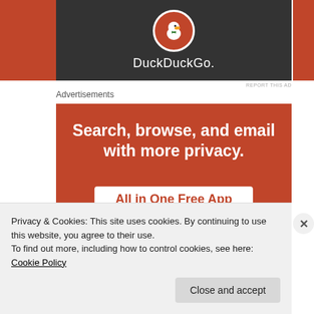[Figure (screenshot): DuckDuckGo advertisement banner with dark background showing DuckDuckGo logo (duck face in red circle) and the text 'DuckDuckGo.' in white, flanked by orange/red side panels]
REPORT THIS AD
Advertisements
[Figure (screenshot): DuckDuckGo advertisement on orange/red background with white bold text 'Search, browse, and email with more privacy.' and a white badge with red text 'All in One Free App', with a phone mockup showing DuckDuckGo logo at bottom]
Privacy & Cookies: This site uses cookies. By continuing to use this website, you agree to their use.
To find out more, including how to control cookies, see here: Cookie Policy
Close and accept